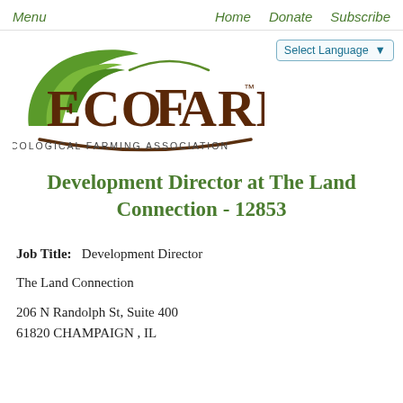Menu   Home   Donate   Subscribe
[Figure (logo): EcoFarm Ecological Farming Association logo with green leaf swoosh and brown serif wordmark]
Development Director at The Land Connection - 12853
Job Title:   Development Director
The Land Connection
206 N Randolph St, Suite 400
61820 CHAMPAIGN , IL